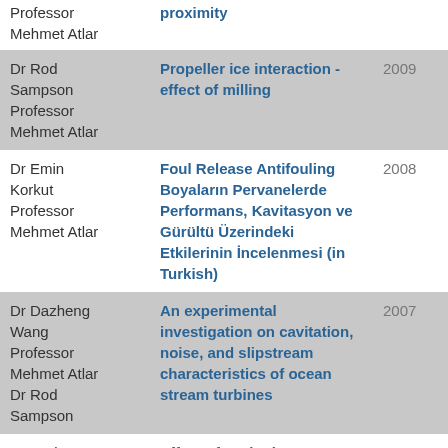| Person | Title | Year |
| --- | --- | --- |
| Professor
Mehmet Atlar | proximity |  |
| Dr Rod Sampson
Professor
Mehmet Atlar | Propeller ice interaction - effect of milling | 2009 |
| Dr Emin Korkut
Professor
Mehmet Atlar | Foul Release Antifouling Boyaların Pervanelerde Performans, Kavitasyon ve Gürültü Üzerindeki Etkilerinin İncelenmesi (in Turkish) | 2008 |
| Dr Dazheng Wang
Professor
Mehmet Atlar
Dr Rod Sampson | An experimental investigation on cavitation, noise, and slipstream characteristics of ocean stream turbines | 2007 |
| Dr Rod | Effect of cavitation | 2007 |